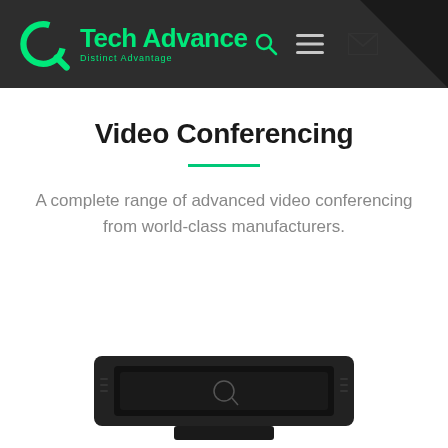Tech Advance — Distinct Advantage
Video Conferencing
A complete range of advanced video conferencing from world-class manufacturers.
[Figure (photo): Partial view of a video conferencing device, dark colored hardware visible at the bottom of the page.]